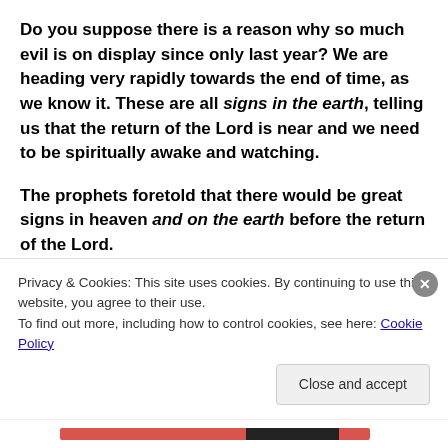Do you suppose there is a reason why so much evil is on display since only last year? We are heading very rapidly towards the end of time, as we know it. These are all signs in the earth, telling us that the return of the Lord is near and we need to be spiritually awake and watching.
The prophets foretold that there would be great signs in heaven and on the earth before the return of the Lord.
“I will show wonders in heaven above and signs in the
Privacy & Cookies: This site uses cookies. By continuing to use this website, you agree to their use.
To find out more, including how to control cookies, see here: Cookie Policy